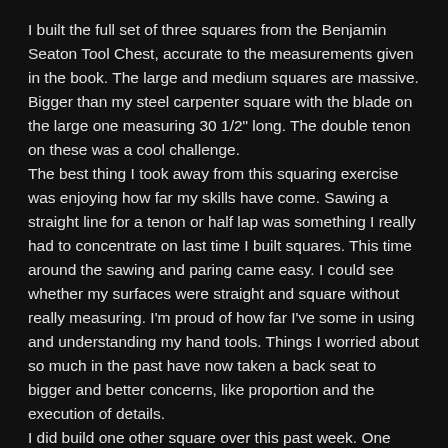I built the full set of three squares from the Benjamin Seaton Tool Chest, accurate to the measurements given in the book. The large and medium squares are massive. Bigger than my steel carpenter square with the blade on the large one measuring 30 1/2" long. The double tenon on these was a cool challenge.
The best thing I took away from this squaring exercise was enjoying how far my skills have come. Sawing a straight line for a tenon or half lap was something I really had to concentrate on last time I built squares. This time around the sawing and paring came easy. I could see whether my surfaces were straight and square without really measuring. I'm proud of how far I've some in using and understanding my hand tools. Things I worried about so much in the past have now taken a back seat to bigger and better concerns, like proportion and the execution of details.
I did build one other square over this past week. One sourced